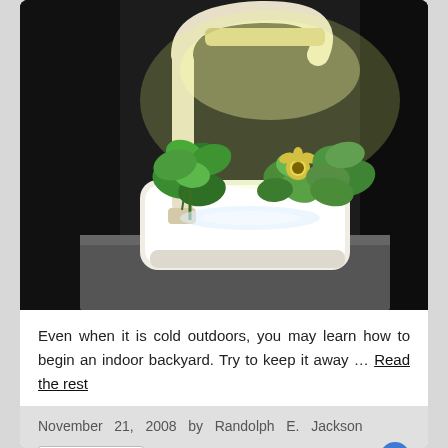[Figure (photo): An indoor hydroponic garden unit with a beige/cream colored frame and LED grow light illuminating green leafy plants including basil and a small flowering plant with yellow blooms, sitting on a dark surface.]
Even when it is cold outdoors, you may learn how to begin an indoor backyard. Try to keep it away … Read the rest
November 21, 2008 by Randolph E. Jackson
Indoor Garden
0